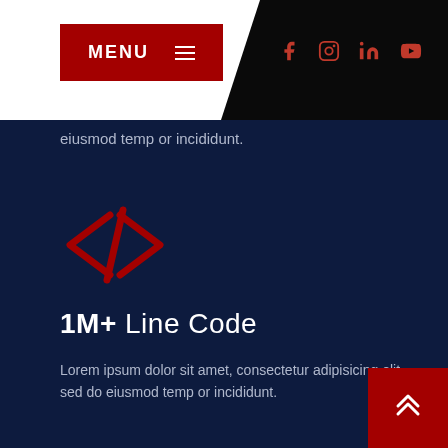MENU ≡  [social icons: f, instagram, in, youtube]
eiusmod temp or incididunt.
[Figure (illustration): Red code tag icon </> on dark navy background]
1M+ Line Code
Lorem ipsum dolor sit amet, consectetur adipisicing elit, sed do eiusmod temp or incididunt.